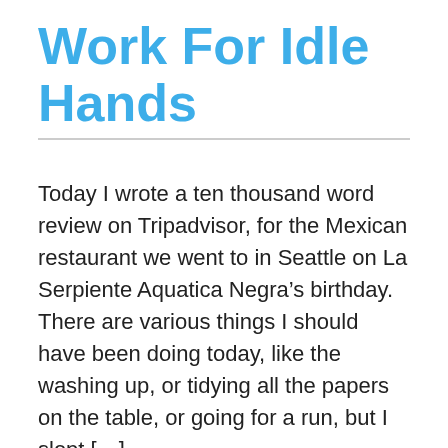Work For Idle Hands
Today I wrote a ten thousand word review on Tripadvisor, for the Mexican restaurant we went to in Seattle on La Serpiente Aquatica Negra’s birthday. There are various things I should have been doing today, like the washing up, or tidying all the papers on the table, or going for a run, but I slept […]
August 2, 2014